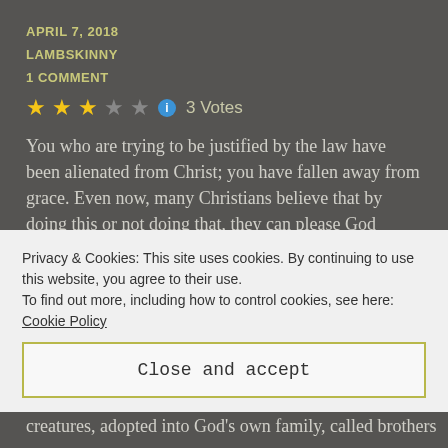APRIL 7, 2018
LAMBSKINNY
1 COMMENT
3 Votes
You who are trying to be justified by the law have been alienated from Christ; you have fallen away from grace. Even now, many Christians believe that by doing this or not doing that, they can please God enough to get into Heaven. And therefore, many obviously believe the opposite — that by not doing this or by doing that, they
Privacy & Cookies: This site uses cookies. By continuing to use this website, you agree to their use.
To find out more, including how to control cookies, see here: Cookie Policy
Close and accept
creatures, adopted into God's own family, called brothers